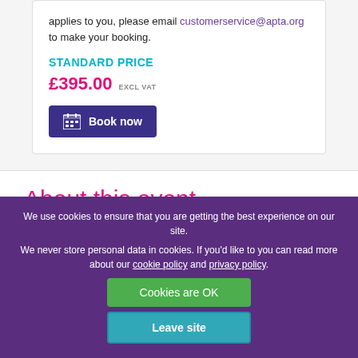applies to you, please email customerservice@apta.org to make your booking.
STANDARD PRICE
£395.00 EXCL VAT
Book now
About this event
The Better Business Cases™ Foundation e-learning covers exactly the same
We use cookies to ensure that you are getting the best experience on our site.

We never store personal data in cookies. If you'd like to you can read more about our cookie policy and privacy policy.
Cookies are OK
Leave site